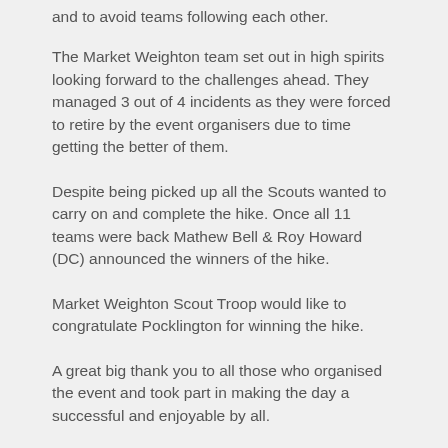and to avoid teams following each other.
The Market Weighton team set out in high spirits looking forward to the challenges ahead. They managed 3 out of 4 incidents as they were forced to retire by the event organisers due to time getting the better of them.
Despite being picked up all the Scouts wanted to carry on and complete the hike. Once all 11 teams were back Mathew Bell & Roy Howard (DC) announced the winners of the hike.
Market Weighton Scout Troop would like to congratulate Pocklington for winning the hike.
A great big thank you to all those who organised the event and took part in making the day a successful and enjoyable by all.